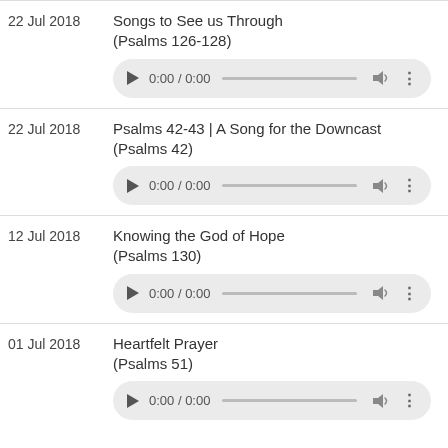22 Jul 2018 — Songs to See us Through (Psalms 126-128)
22 Jul 2018 — Psalms 42-43 | A Song for the Downcast (Psalms 42)
12 Jul 2018 — Knowing the God of Hope (Psalms 130)
01 Jul 2018 — Heartfelt Prayer (Psalms 51)